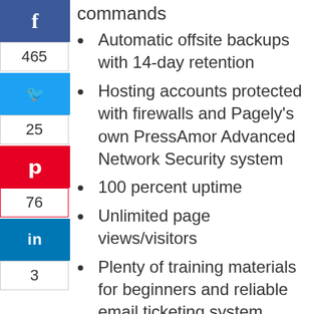commands
Automatic offsite backups with 14-day retention
Hosting accounts protected with firewalls and Pagely's own PressAmor Advanced Network Security system
100 percent uptime
Unlimited page views/visitors
Plenty of training materials for beginners and reliable email ticketing system
30-day money-back guarantee